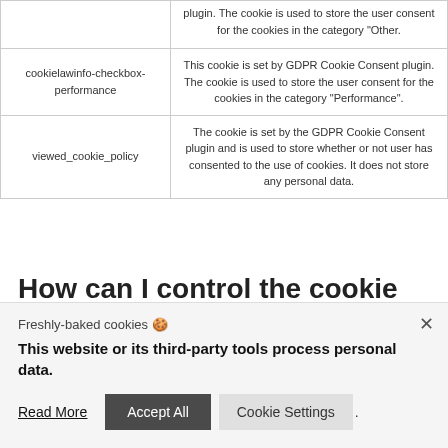| Cookie | Description |
| --- | --- |
|  | plugin. The cookie is used to store the user consent for the cookies in the category "Other. |
| cookielawinfo-checkbox-performance | This cookie is set by GDPR Cookie Consent plugin. The cookie is used to store the user consent for the cookies in the category "Performance". |
| viewed_cookie_policy | The cookie is set by the GDPR Cookie Consent plugin and is used to store whether or not user has consented to the use of cookies. It does not store any personal data. |
How can I control the cookie
Freshly-baked cookies 🍪
This website or its third-party tools process personal data.
Read More  Accept All  Cookie Settings .